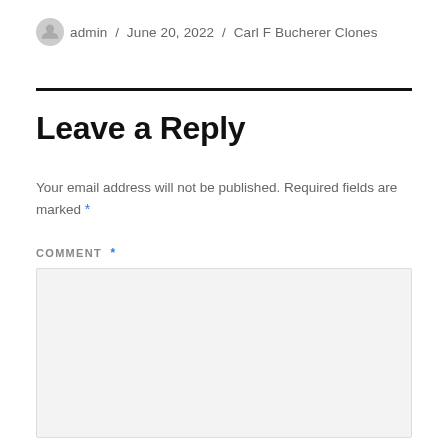admin / June 20, 2022 / Carl F Bucherer Clones
Leave a Reply
Your email address will not be published. Required fields are marked *
COMMENT *